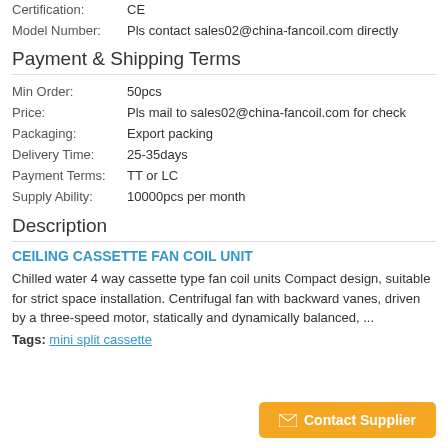Certification: CE
Model Number: Pls contact sales02@china-fancoil.com directly
Payment & Shipping Terms
Min Order: 50pcs
Price: Pls mail to sales02@china-fancoil.com for check
Packaging: Export packing
Delivery Time: 25-35days
Payment Terms: TT or LC
Supply Ability: 10000pcs per month
Description
CEILING CASSETTE FAN COIL UNIT
Chilled water 4 way cassette type fan coil units Compact design, suitable for strict space installation. Centrifugal fan with backward vanes, driven by a three-speed motor, statically and dynamically balanced, ...
Tags: mini split cassette